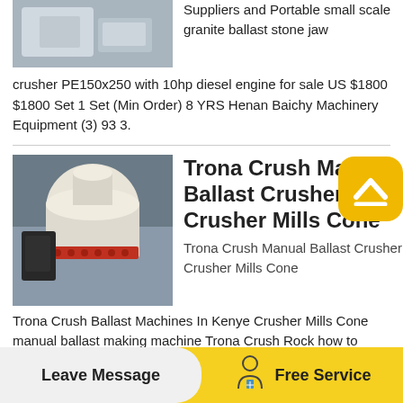[Figure (photo): Photo of a white industrial crusher machine in a warehouse/industrial setting]
Suppliers and Portable small scale granite ballast stone jaw crusher PE150x250 with 10hp diesel engine for sale US $1800 $1800 Set 1 Set (Min Order) 8 YRS Henan Baichy Machinery Equipment (3) 93 3.
[Figure (photo): Photo of a large cone crusher machine, cream/white colored with red and black mechanical components, viewed from below in an industrial setting]
Trona Crush Manual Ballast Crusher Crusher Mills Cone
Trona Crush Manual Ballast Crusher Crusher Mills Cone Trona Crush Ballast Machines In Kenye Crusher Mills Cone manual ballast making machine Trona Crush Rock how to crush rocks for ballast ZCRUSHER Track ballast Wikipedia the free encyclopedia
Leave Message   Free Service